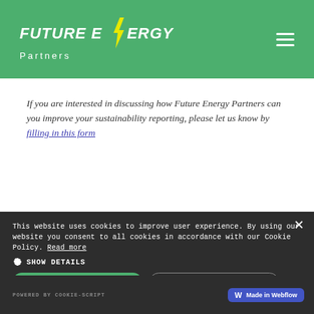[Figure (logo): Future Energy Partners logo with green background, white italic bold text 'FUTURE ENERGY Partners' with yellow lightning bolt replacing the 'L' in ENERGY, and hamburger menu icon top right]
If you are interested in discussing how Future Energy Partners can you improve your sustainability reporting, please let us know by filling in this form
This website uses cookies to improve user experience. By using our website you consent to all cookies in accordance with our Cookie Policy. Read more
SHOW DETAILS
ACCEPT ALL
DECLINE ALL
POWERED BY COOKIE-SCRIPT
[Figure (logo): Made in Webflow badge with blue background and W icon]